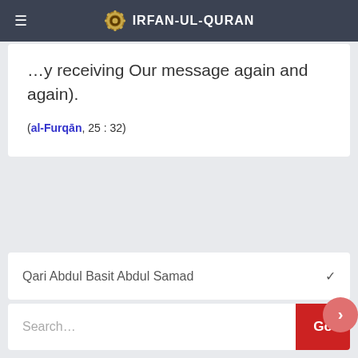IRFAN-UL-QURAN
by receiving Our message again and again).
(al-Furqān, 25 : 32)
Qari Abdul Basit Abdul Samad
Search...